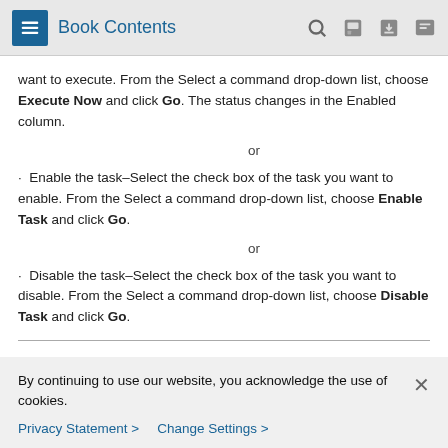Book Contents
want to execute. From the Select a command drop-down list, choose Execute Now and click Go. The status changes in the Enabled column.
or
· Enable the task–Select the check box of the task you want to enable. From the Select a command drop-down list, choose Enable Task and click Go.
or
· Disable the task–Select the check box of the task you want to disable. From the Select a command drop-down list, choose Disable Task and click Go.
By continuing to use our website, you acknowledge the use of cookies.
Privacy Statement > Change Settings >